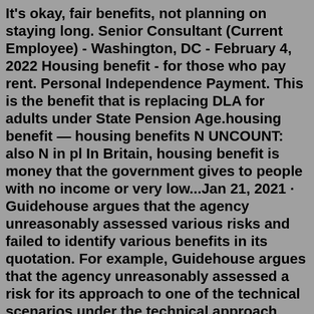It's okay, fair benefits, not planning on staying long. Senior Consultant (Current Employee) - Washington, DC - February 4, 2022 Housing benefit - for those who pay rent. Personal Independence Payment. This is the benefit that is replacing DLA for adults under State Pension Age.housing benefit — housing benefits N UNCOUNT: also N in pl In Britain, housing benefit is money that the government gives to people with no income or very low...Jan 21, 2021 · Guidehouse argues that the agency unreasonably assessed various risks and failed to identify various benefits in its quotation. For example, Guidehouse argues that the agency unreasonably assessed a risk for its approach to one of the technical scenarios under the technical approach factor, which was referenced as a discriminator in the source ... Guidehouse does not accept unsolicited resumes through or from search firms or staffing agencies. All unsolicited resumes will be considered the property of Guidehouse and Guidehouse will not be obligated to pay a placement fee. Rewards and Benefits: Guidehouse offers a